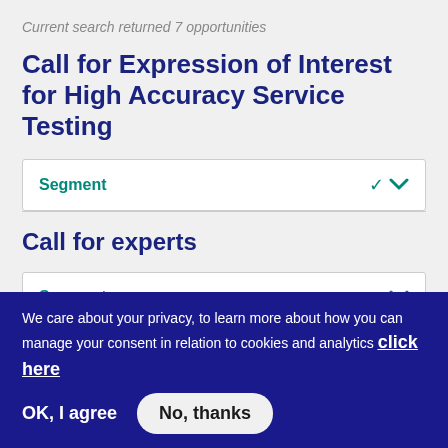Current search returned 7 opportunities
Call for Expression of Interest for High Accuracy Service Testing
Segment
Call for experts
Segment
We care about your privacy, to learn more about how you can manage your consent in relation to cookies and analytics click here
OK, I agree
No, thanks